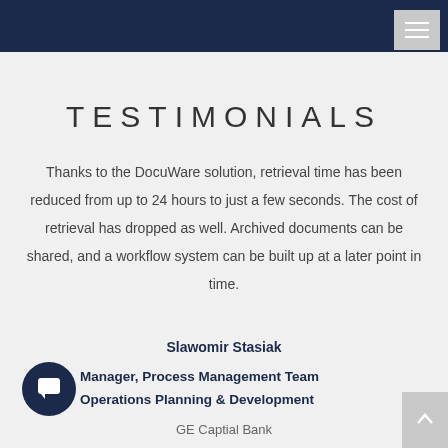TESTIMONIALS
Thanks to the DocuWare solution, retrieval time has been reduced from up to 24 hours to just a few seconds. The cost of retrieval has dropped as well. Archived documents can be shared, and a workflow system can be built up at a later point in time.
Slawomir Stasiak
Manager, Process Management Team
Operations Planning & Development
GE Captial Bank